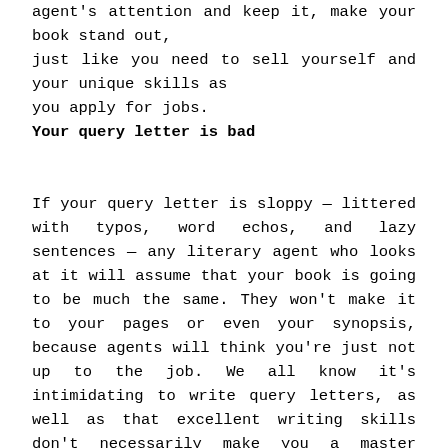agent's attention and keep it, make your book stand out, just like you need to sell yourself and your unique skills as you apply for jobs.
Your query letter is bad
If your query letter is sloppy — littered with typos, word echos, and lazy sentences — any literary agent who looks at it will assume that your book is going to be much the same. They won't make it to your pages or even your synopsis, because agents will think you're just not up to the job. We all know it's intimidating to write query letters, as well as that excellent writing skills don't necessarily make you a master marketer, but literary agents are simply too busy to contemplate those facts. The moral of the story? Never